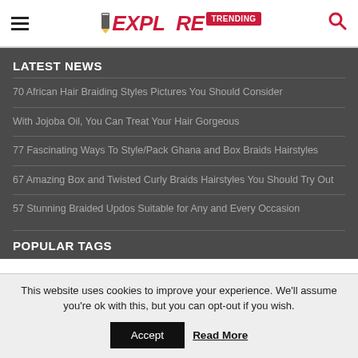Explore Trending
LATEST NEWS
70 African Hair Braiding Styles Pictures You Should Consider
With Jojoba Oil, You Can Treat Your Hair Gorgeous
77 Fascinating Ways To Style/Pack Ghana and Box Braids Hairstyles
67 Amazing Box and Twisted Curly Braids Hairstyles You Should Try Out
57 Stunning Braided Updos Suitable for Any and Every Occasion
POPULAR TAGS
This website uses cookies to improve your experience. We'll assume you're ok with this, but you can opt-out if you wish.